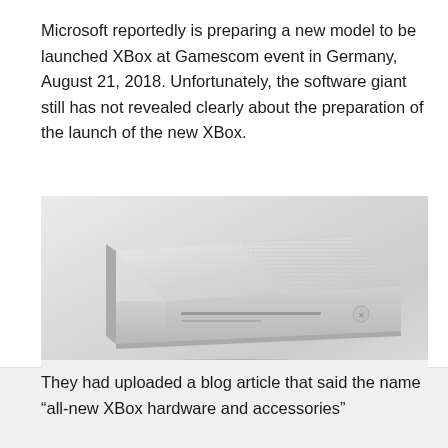Microsoft reportedly is preparing a new model to be launched XBox at Gamescom event in Germany, August 21, 2018. Unfortunately, the software giant still has not revealed clearly about the preparation of the launch of the new XBox.
[Figure (photo): White Xbox One S gaming console shown from a top-angle perspective on a light gray background]
They had uploaded a blog article that said the name “all-new XBox hardware and accessories”